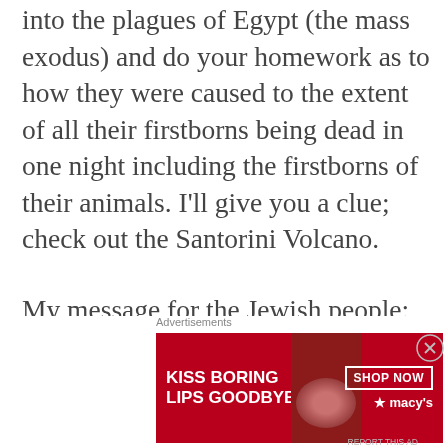into the plagues of Egypt (the mass exodus) and do your homework as to how they were caused to the extent of all their firstborns being dead in one night including the firstborns of their animals. I'll give you a clue; check out the Santorini Volcano.
My message for the Jewish people:
I love you
I respect you
I support you
I will cling to you and your God come what
Advertisements
[Figure (photo): Macy's advertisement banner with red background, text 'KISS BORING LIPS GOODBYE', a woman's face with red lipstick, 'SHOP NOW' button, and Macy's star logo]